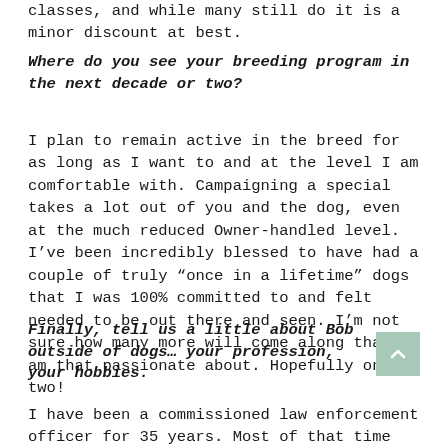classes, and while many still do it is a minor discount at best.
Where do you see your breeding program in the next decade or two?
I plan to remain active in the breed for as long as I want to and at the level I am comfortable with. Campaigning a special takes a lot out of you and the dog, even at the much reduced Owner-handled level. I’ve been incredibly blessed to have had a couple of truly “once in a lifetime” dogs that I was 100% committed to and felt needed to be out there and seen. I’m not sure how many more will come along that I am that passionate about. Hopefully one or two!
Finally, tell us a little about Bob outside of dogs… your profession, your hobbies.
I have been a commissioned law enforcement officer for 35 years. Most of that time has been